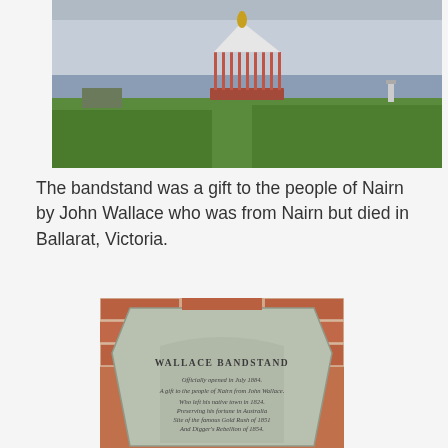[Figure (photo): Outdoor photo of a Victorian-style bandstand with a red and white structure topped with a gold dome, set on a wide green lawn with a grey overcast sky and water visible in the background.]
The bandstand was a gift to the people of Nairn by John Wallace who was from Nairn but died in Ballarat, Victoria.
[Figure (photo): Close-up photo of a stone/metal plaque set into a brick wall. The plaque reads: WALLACE BANDSTAND. Officially opened in July 1884. A gift to the people of Nairn from John Wallace. Who left his native town in 1824. Preserving his fortune in Australia Site of the famous Gold Rush of 1851 And Digger's Rebellion of 1854.]